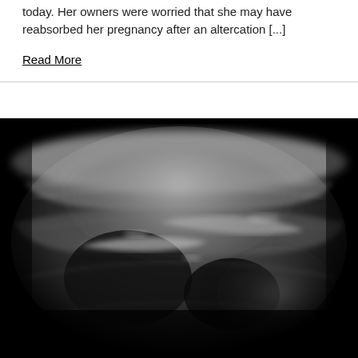today. Her owners were worried that she may have reabsorbed her pregnancy after an altercation [...]
Read More
[Figure (photo): Black and white ultrasound image showing grayscale echogenic tissue structures, typical of a veterinary or medical ultrasound scan.]